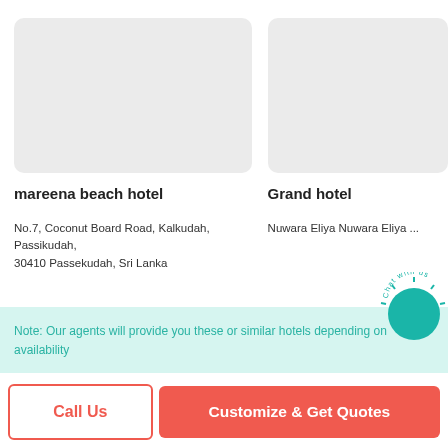[Figure (photo): Placeholder image for mareena beach hotel (light gray rectangle)]
mareena beach hotel
No.7, Coconut Board Road, Kalkudah, Passikudah, 30410 Passekudah, Sri Lanka
[Figure (photo): Placeholder image for Grand hotel (light gray rectangle, partially cropped)]
Grand hotel
Nuwara Eliya Nuwara Eliya ...
Note: Our agents will provide you these or similar hotels depending on availability
Call Us
Customize & Get Quotes